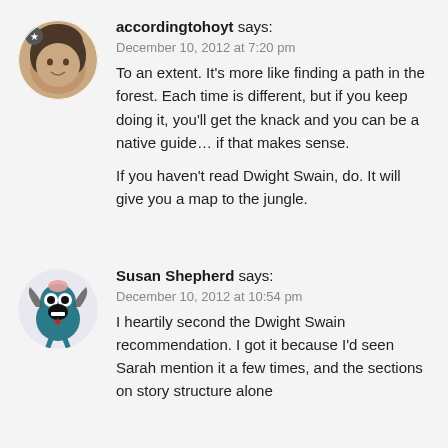[Figure (photo): Circular avatar photo of a woman smiling, with a star badge overlay in the upper left.]
accordingtohoyt says:
December 10, 2012 at 7:20 pm
To an extent. It's more like finding a path in the forest. Each time is different, but if you keep doing it, you'll get the knack and you can be a native guide… if that makes sense.

If you haven't read Dwight Swain, do. It will give you a map to the jungle.
[Figure (illustration): Circular avatar showing a cartoon blue monster character with bat wings and a red star on its chest.]
Susan Shepherd says:
December 10, 2012 at 10:54 pm
I heartily second the Dwight Swain recommendation. I got it because I'd seen Sarah mention it a few times, and the sections on story structure alone